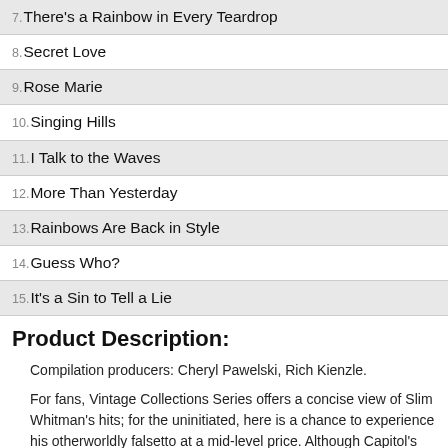7. There's a Rainbow in Every Teardrop
8. Secret Love
9. Rose Marie
10. Singing Hills
11. I Talk to the Waves
12. More Than Yesterday
13. Rainbows Are Back in Style
14. Guess Who?
15. It's a Sin to Tell a Lie
Product Description:
Compilation producers: Cheryl Pawelski, Rich Kienzle.
For fans, Vintage Collections Series offers a concise view of Slim Whitman's hits; for the uninitiated, here is a chance to experience his otherworldly falsetto at a mid-level price. Although Capitol's Vintage Collections discs typically offer 20 tracks, the volume devoted to Whitman compiles only 15